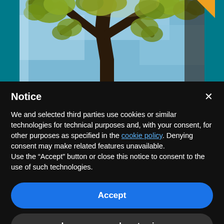[Figure (photo): A photo of a large tree viewed from below, with green leaves against a blue sky. The tree has thick, dark branches spreading across the frame. Set against a teal background.]
Notice
We and selected third parties use cookies or similar technologies for technical purposes and, with your consent, for other purposes as specified in the cookie policy. Denying consent may make related features unavailable.
Use the “Accept” button or close this notice to consent to the use of such technologies.
Accept
Learn more and customize